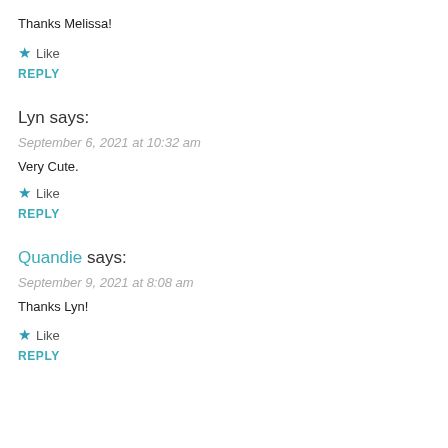Thanks Melissa!
★ Like
REPLY
Lyn says:
September 6, 2021 at 10:32 am
Very Cute.
★ Like
REPLY
Quandie says:
September 9, 2021 at 8:08 am
Thanks Lyn!
★ Like
REPLY